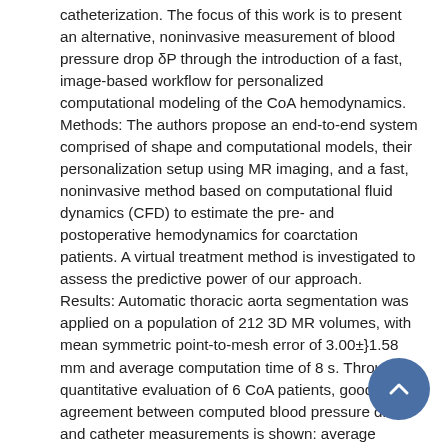catheterization. The focus of this work is to present an alternative, noninvasive measurement of blood pressure drop δP through the introduction of a fast, image-based workflow for personalized computational modeling of the CoA hemodynamics. Methods: The authors propose an end-to-end system comprised of shape and computational models, their personalization setup using MR imaging, and a fast, noninvasive method based on computational fluid dynamics (CFD) to estimate the pre- and postoperative hemodynamics for coarctation patients. A virtual treatment method is investigated to assess the predictive power of our approach. Results: Automatic thoracic aorta segmentation was applied on a population of 212 3D MR volumes, with mean symmetric point-to-mesh error of 3.00±}1.58 mm and average computation time of 8 s. Through quantitative evaluation of 6 CoA patients, good agreement between computed blood pressure drop and catheter measurements is shown: average differences are 2.38±}0.82 mm Hg (pre-), 1.10±}0.63 mm Hg (postoperative), and 4.99±}3.00 mm Hg (virtual stenting), respectively. Conclusions: The complete workflow is realized in a fast, mostly-automated system that is integrable in the clinical setting. To the best of our knowledge, this is the first time that three different settings (preoperativeseverity assessment, poststentingfollow-